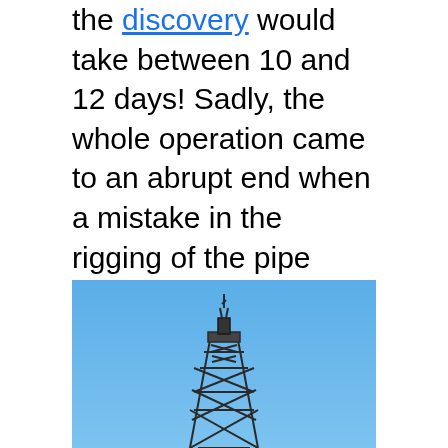the discovery would take between 10 and 12 days! Sadly, the whole operation came to an abrupt end when a mistake in the rigging of the pipe caused it to snap clean off, and the whole lot went crashing to the sea bed, never to be seen again. Nobody was injured, but Robert Ballard's pride took a tumble, and Woods Hole began to distance them from him, and it was also going to be much harder to borrow equipment or approach backers in the future. All he could do was sit and watch as others took up the challenge to find Titanic.
[Figure (photo): A metal lattice tower or derrick structure photographed against a clear blue sky]